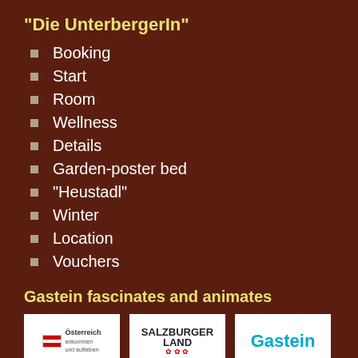"Die UnterbergerIn"
Booking
Start
Room
Wellness
Details
Garden-poster bed
"Heustadl"
Winter
Location
Vouchers
Gastein fascinates and animates
[Figure (logo): Three logos: Österreich (Austria tourism), Salzburger Land, Gastein]
[Figure (logo): Partial fourth logo at bottom]